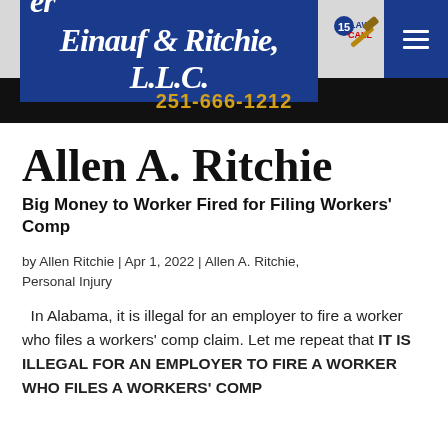Einauf & Ritchie, L.L.C. | 15 Law Call
251-666-1212
Allen A. Ritchie
Big Money to Worker Fired for Filing Workers' Comp
by Allen Ritchie | Apr 1, 2022 | Allen A. Ritchie, Personal Injury
In Alabama, it is illegal for an employer to fire a worker who files a workers' comp claim. Let me repeat that IT IS ILLEGAL FOR AN EMPLOYER TO FIRE A WORKER WHO FILES A WORKERS' COMP